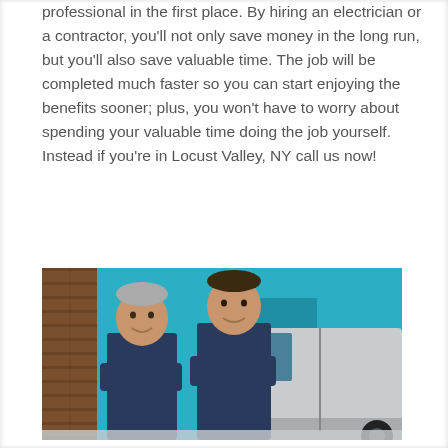professional in the first place. By hiring an electrician or a contractor, you'll not only save money in the long run, but you'll also save valuable time. The job will be completed much faster so you can start enjoying the benefits sooner; plus, you won't have to worry about spending your valuable time doing the job yourself. Instead if you're in Locust Valley, NY call us now!
[Figure (photo): Two male workers in navy blue uniforms standing in front of a white/silver van with a teal/blue background, both with arms crossed and smiling]